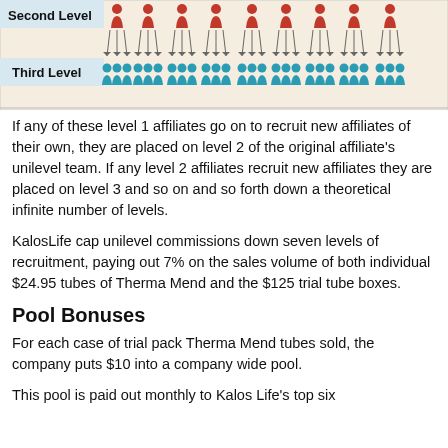[Figure (infographic): Unilevel MLM diagram showing Second Level (red person icons with downward arrows) and Third Level (teal/blue person icons) arranged in rows with a beige/tan background]
If any of these level 1 affiliates go on to recruit new affiliates of their own, they are placed on level 2 of the original affiliate's unilevel team. If any level 2 affiliates recruit new affiliates they are placed on level 3 and so on and so forth down a theoretical infinite number of levels.
KalosLife cap unilevel commissions down seven levels of recruitment, paying out 7% on the sales volume of both individual $24.95 tubes of Therma Mend and the $125 trial tube boxes.
Pool Bonuses
For each case of trial pack Therma Mend tubes sold, the company puts $10 into a company wide pool.
This pool is paid out monthly to Kalos Life's top six